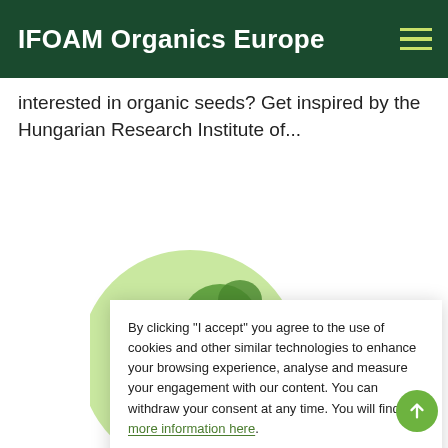IFOAM Organics Europe
interested in organic seeds? Get inspired by the Hungarian Research Institute of...
[Figure (illustration): Light green circular illustration with darker green organic/seed shapes]
By clicking “I accept” you agree to the use of cookies and other similar technologies to enhance your browsing experience, analyse and measure your engagement with our content. You can withdraw your consent at any time. You will find more information here.
I accept
I do not accept